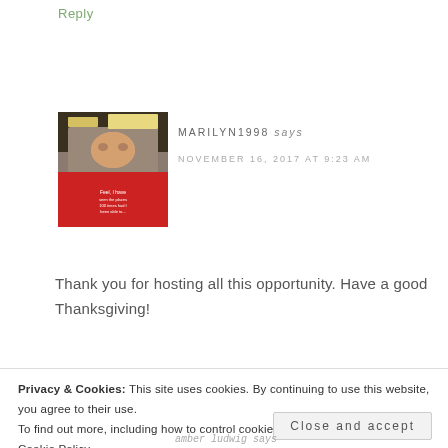Reply
[Figure (photo): Profile photo of Marilyn1998, a woman in a red t-shirt in a store setting]
MARILYN1998 says
NOVEMBER 16, 2017 AT 9:23 AM
Thank you for hosting all this opportunity. Have a good Thanksgiving!
Privacy & Cookies: This site uses cookies. By continuing to use this website, you agree to their use.
To find out more, including how to control cookies, see here:
Cookie Policy
Close and accept
amber ludwig says